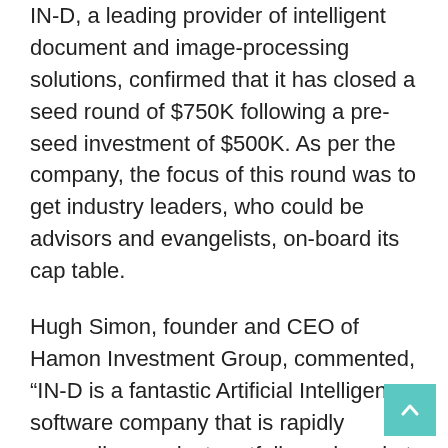IN-D, a leading provider of intelligent document and image-processing solutions, confirmed that it has closed a seed round of $750K following a pre-seed investment of $500K. As per the company, the focus of this round was to get industry leaders, who could be advisors and evangelists, on-board its cap table.
Hugh Simon, founder and CEO of Hamon Investment Group, commented, “IN-D is a fantastic Artificial Intelligence software company that is rapidly expanding product portfolio and market reach. The fact that we have drawn interest from the heads of investment banking and leaders from capital markets shows that the financial services industry values the potential that this